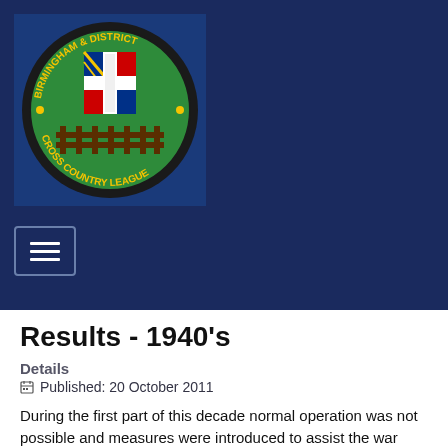[Figure (logo): Birmingham & District Cross Country League circular logo on dark blue background with green circle, coat of arms shield, and text around the border]
Results - 1940's
Details
Published: 20 October 2011
During the first part of this decade normal operation was not possible and measures were introduced to assist the war effort and the athletes by reducing travel. The League was operated on a North/South basis. For those listed in